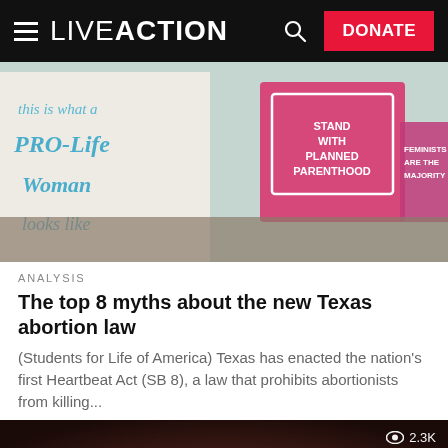LIVE ACTION — DONATE
[Figure (photo): Protesters holding signs at a rally, including a white sign reading 'this is what a PRO-Life Woman looks like' and a pink sign reading 'STAND WITH PLANNED PARENTHOOD' and another sign reading 'FEMINISTS ARE THE MAJORITY']
ANALYSIS
The top 8 myths about the new Texas abortion law
(Students for Life of America) Texas has enacted the nation's first Heartbeat Act (SB 8), a law that prohibits abortionists from killing...
[Figure (photo): Close-up photo of a newborn baby's tiny fist/hand held by an adult hand, with a warm blurred background. View count shows 2.3K.]